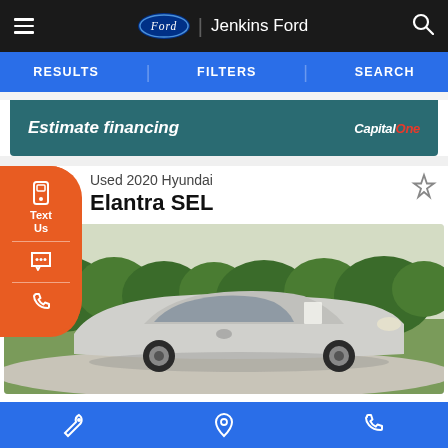Jenkins Ford
RESULTS  FILTERS  SEARCH
Estimate financing  CapitalOne
Used 2020 Hyundai
Elantra SEL
[Figure (photo): Silver 2020 Hyundai Elantra SEL sedan parked outdoors on a sunny day with trees in background]
Service | Location | Phone